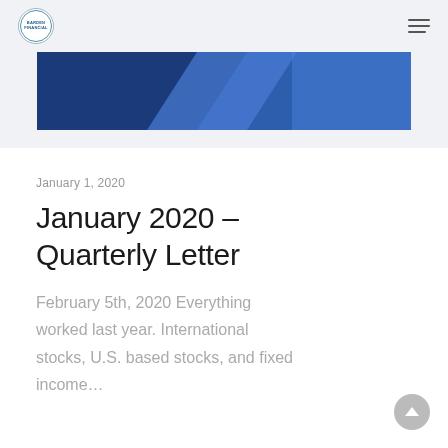Barden Financial — navigation bar with logo and hamburger menu
[Figure (illustration): Blue geometric hero banner with overlapping dark and medium blue rectangular shapes]
January 1, 2020
January 2020 – Quarterly Letter
February 5th, 2020 Everything worked last year. International stocks, U.S. based stocks, and fixed income…